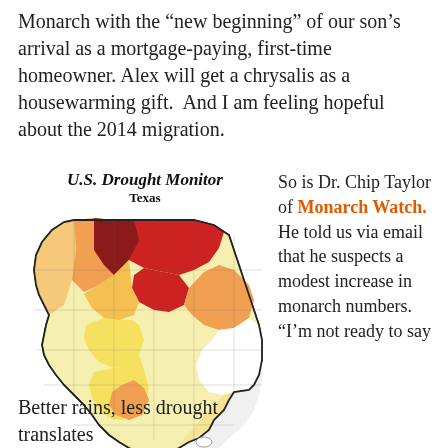Monarch with the "new beginning" of our son's arrival as a mortgage-paying, first-time homeowner. Alex will get a chrysalis as a housewarming gift.  And I am feeling hopeful about the 2014 migration.
[Figure (map): U.S. Drought Monitor map of Texas showing drought severity by county, with colors ranging from white (no drought) through yellow, orange, red, and dark red/brown indicating increasing drought severity. Title: U.S. Drought Monitor, Texas.]
So is Dr. Chip Taylor of Monarch Watch. He told us via email that he suspects a modest increase in monarch numbers. "I'm not ready to say
Better rains, less drought translates